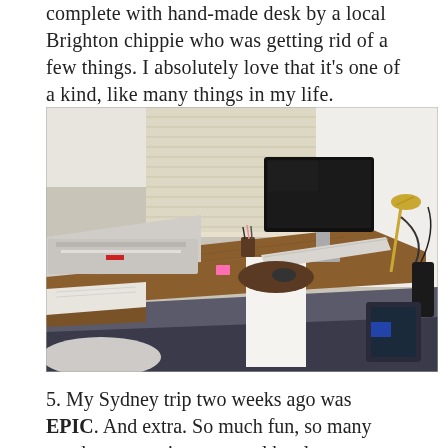complete with hand-made desk by a local Brighton chippie who was getting rid of a few things. I absolutely love that it's one of a kind, like many things in my life.
[Figure (photo): Photo of a home office with a hand-made wooden L-shaped desk. On the desk there is a printer on the left, a monitor with keyboard and mouse in the centre-right, a gold desk lamp, a pen/pencil holder, sticky notes, and various items. Dark carpet on the floor, white walls, window blinds in the background.]
5. My Sydney trip two weeks ago was EPIC. And extra. So much fun, so many good conversations, several bottles